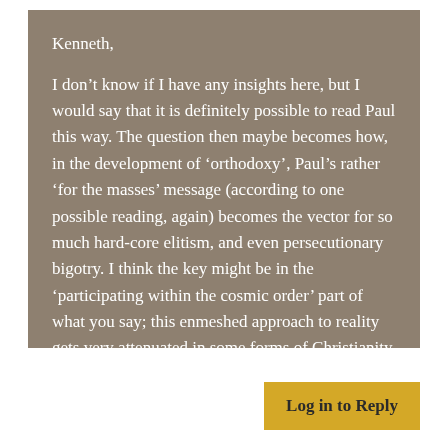Kenneth,

I don't know if I have any insights here, but I would say that it is definitely possible to read Paul this way. The question then maybe becomes how, in the development of ‘orthodoxy’, Paul’s rather ‘for the masses’ message (according to one possible reading, again) becomes the vector for so much hard-core elitism, and even persecutionary bigotry. I think the key might be in the ‘participating within the cosmic order’ part of what you say; this enmeshed approach to reality gets very attenuated in some forms of Christianity.
Log in to Reply